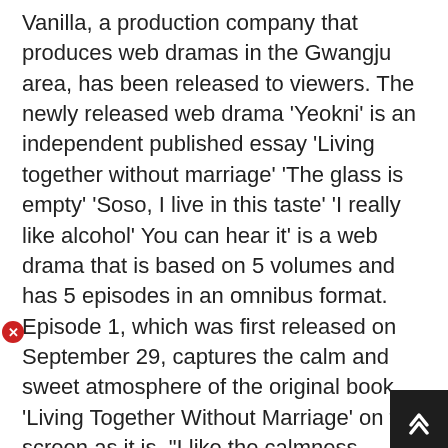Vanilla, a production company that produces web dramas in the Gwangju area, has been released to viewers. The newly released web drama 'Yeokni' is an independent published essay 'Living together without marriage' 'The glass is empty' 'Soso, I live in this taste' 'I really like alcohol' You can hear it' is a web drama that is based on 5 volumes and has 5 episodes in an omnibus format.
Episode 1, which was first released on September 29, captures the calm and sweet atmosphere of the original book 'Living Together Without Marriage' on the screen as it is, "I like the calmness different from other web dramas", The emotion is so good" and "It makes me want to read the original book", etc. The second episode, which was released on the 6th, perfectly showed the fruit makgeolli of the original book 'The glass was empty' and earned the modifier 'non-stimulating empathy webd'.
Vanilla said about this work, "I wanted to give viewers